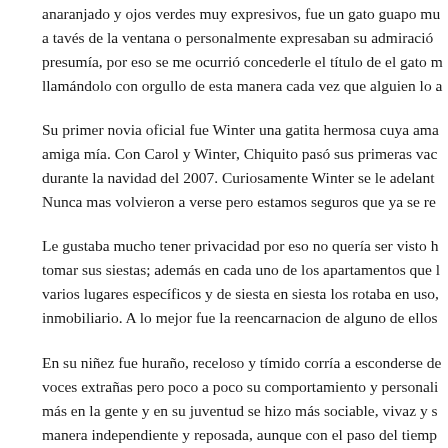anaranjado y ojos verdes muy expresivos, fue un gato guapo mu a tavés de la ventana o personalmente expresaban su admiración presumía, por eso se me ocurrió concederle el título de el gato n llamándolo con orgullo de esta manera cada vez que alguien lo a
Su primer novia oficial fue Winter una gatita hermosa cuya ama amiga mía. Con Carol y Winter, Chiquito pasó sus primeras vac durante la navidad del 2007. Curiosamente Winter se le adelant Nunca mas volvieron a verse pero estamos seguros que ya se re
Le gustaba mucho tener privacidad por eso no quería ser visto h tomar sus siestas; además en cada uno de los apartamentos que l varios lugares específicos y de siesta en siesta los rotaba en uso, inmobiliario. A lo mejor fue la reencarnacion de alguno de ellos
En su niñez fue huraño, receloso y tímido corría a esconderse de voces extrañas pero poco a poco su comportamiento y personali más en la gente y en su juventud se hizo más sociable, vivaz y s manera independiente y reposada, aunque con el paso del tiemp